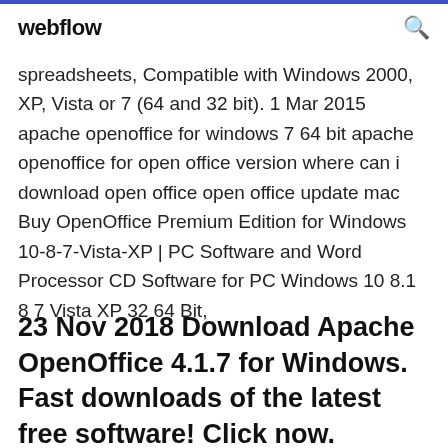webflow
spreadsheets, Compatible with Windows 2000, XP, Vista or 7 (64 and 32 bit). 1 Mar 2015 apache openoffice for windows 7 64 bit apache openoffice for open office version where can i download open office open office update mac Buy OpenOffice Premium Edition for Windows 10-8-7-Vista-XP | PC Software and Word Processor CD Software for PC Windows 10 8.1 8 7 Vista XP 32 64 Bit,
23 Nov 2018 Download Apache OpenOffice 4.1.7 for Windows. Fast downloads of the latest free software! Click now.